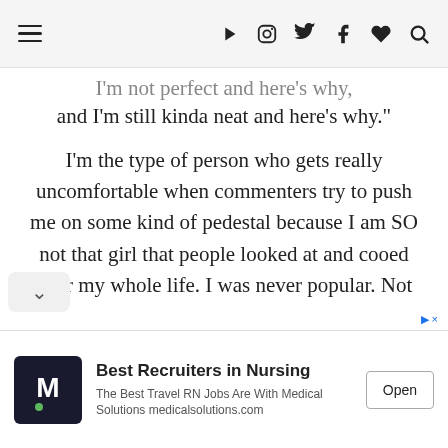Navigation header with hamburger menu and social icons
I'm not perfect and here's why, and I'm still kinda neat and here's why."
I'm the type of person who gets really uncomfortable when commenters try to push me on some kind of pedestal because I am SO not that girl that people looked at and cooed over my whole life. I was never popular. Not even close! I was always that
[Figure (advertisement): Best Recruiters in Nursing ad for Medical Solutions with Open button]